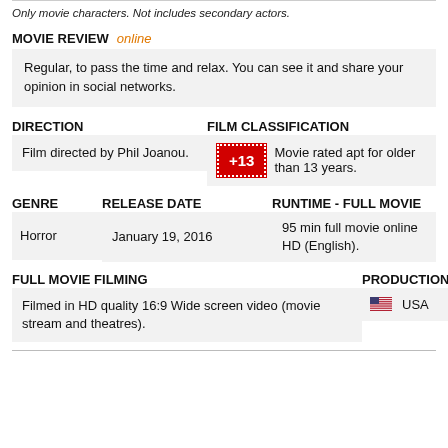Only movie characters. Not includes secondary actors.
MOVIE REVIEW  online
Regular, to pass the time and relax. You can see it and share your opinion in social networks.
DIRECTION
Film directed by Phil Joanou.
FILM CLASSIFICATION
+13  Movie rated apt for older than 13 years.
GENRE
Horror
RELEASE DATE
January 19, 2016
RUNTIME - FULL MOVIE
95 min full movie online HD (English).
FULL MOVIE FILMING
Filmed in HD quality 16:9 Wide screen video (movie stream and theatres).
PRODUCTION
USA